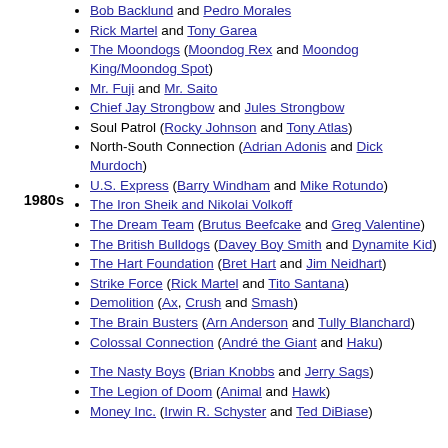1980s
Bob Backlund and Pedro Morales
Rick Martel and Tony Garea
The Moondogs (Moondog Rex and Moondog King/Moondog Spot)
Mr. Fuji and Mr. Saito
Chief Jay Strongbow and Jules Strongbow
Soul Patrol (Rocky Johnson and Tony Atlas)
North-South Connection (Adrian Adonis and Dick Murdoch)
U.S. Express (Barry Windham and Mike Rotundo)
The Iron Sheik and Nikolai Volkoff
The Dream Team (Brutus Beefcake and Greg Valentine)
The British Bulldogs (Davey Boy Smith and Dynamite Kid)
The Hart Foundation (Bret Hart and Jim Neidhart)
Strike Force (Rick Martel and Tito Santana)
Demolition (Ax, Crush and Smash)
The Brain Busters (Arn Anderson and Tully Blanchard)
Colossal Connection (André the Giant and Haku)
The Nasty Boys (Brian Knobbs and Jerry Sags)
The Legion of Doom (Animal and Hawk)
Money Inc. (Irwin R. Schyster and Ted DiBiase)